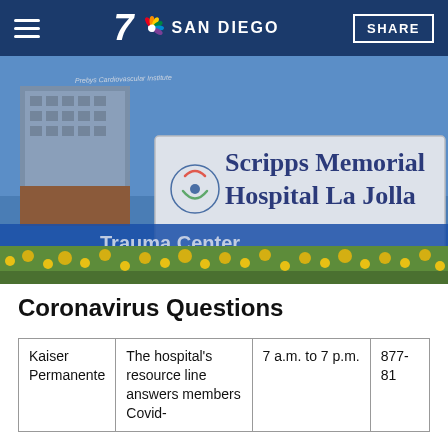7 SAN DIEGO | SHARE
[Figure (photo): Exterior photo of Scripps Memorial Hospital La Jolla with a large signage in the foreground reading 'Scripps Memorial Hospital La Jolla' with the Scripps logo. A building with 'Prebys Cardiovascular Institute' is visible in the background. Yellow flowers are in the foreground. A 'Trauma Center' sign is partially visible at the bottom.]
Coronavirus Questions
| Kaiser Permanente | The hospital's resource line answers members Covid- | 7 a.m. to 7 p.m. | 877-81 |